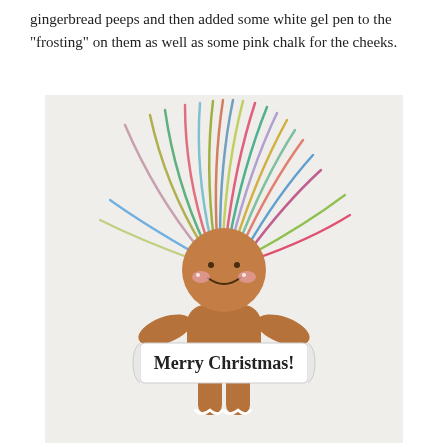gingerbread peeps and then added some white gel pen to the "frosting" on them as well as some pink chalk for the cheeks.
[Figure (photo): A handmade gingerbread person craft figure with colorful rainbow-streamer hair radiating upward in many colors (pink, blue, green, olive, red, teal), a round brown gingerbread head with a smiling face and pink chalk cheeks, a body with arms, and holding a banner that reads 'Merry Christmas!' in script lettering. The legs have white decorative frosting detail.]